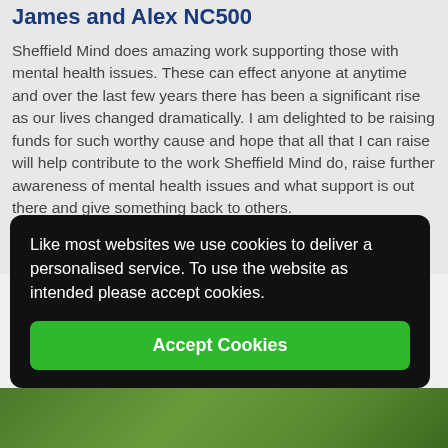James and Alex NC500
Sheffield Mind does amazing work supporting those with mental health issues. These can effect anyone at anytime and over the last few years there has been a significant rise as our lives changed dramatically. I am delighted to be raising funds for such worthy cause and hope that all that I can raise will help contribute to the work Sheffield Mind do, raise further awareness of mental health issues and what support is out there and give something back to others.
Like most websites we use cookies to deliver a personalised service. To use the website as intended please accept cookies.
Accept Cookies
[Figure (photo): Bottom strip showing green foliage/plant image]